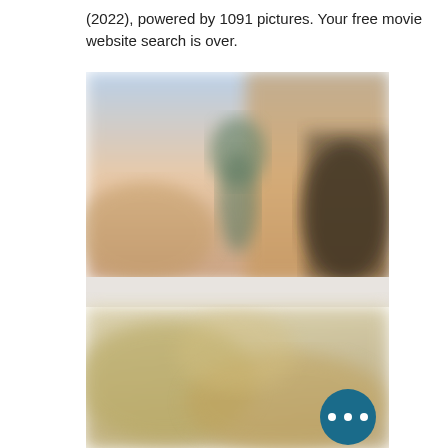(2022), powered by 1091 pictures. Your free movie website search is over.
[Figure (photo): A blurred/obscured composite image showing two stacked movie poster or scene images. The top image shows blurred figures of people in an outdoor setting with warm and light-blue tones. The bottom image is also blurred showing warm golden-toned scene with people. A teal circular button with three white dots (ellipsis) overlays the bottom-right corner.]